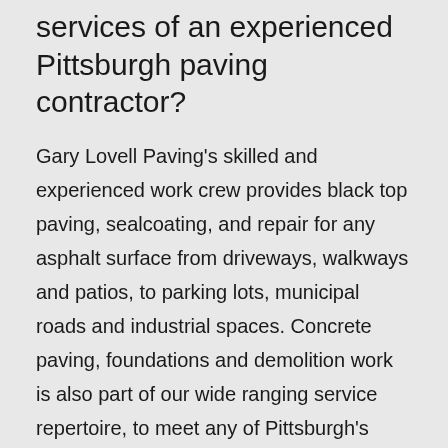services of an experienced Pittsburgh paving contractor?
Gary Lovell Paving's skilled and experienced work crew provides black top paving, sealcoating, and repair for any asphalt surface from driveways, walkways and patios, to parking lots, municipal roads and industrial spaces. Concrete paving, foundations and demolition work is also part of our wide ranging service repertoire, to meet any of Pittsburgh's paving requirements.
Up-to-date knowledge of Pittsburgh building code regulations.